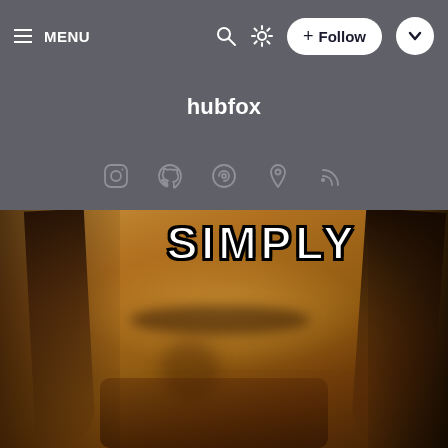≡ MENU
hubfox
[Figure (screenshot): Navigation bar with menu, search, brightness, follow, and chevron buttons on dark grey background]
[Figure (illustration): Social media profile icons row: Instagram, GitHub, Gitea/source, location pin, RSS feed icons in grey on dark background]
[Figure (photo): Meme photo of a long-haired man with smirking expression, partial text 'SIMPLY' visible at top in bold white Impact font with black outline, warm golden-toned photo]